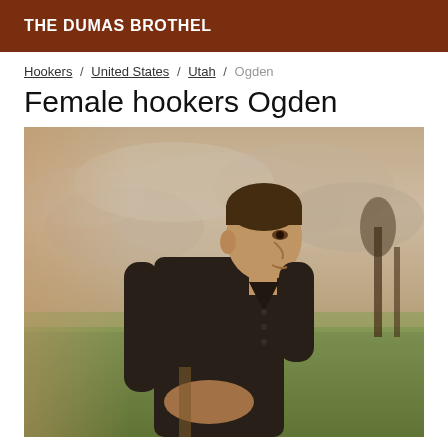THE DUMAS BROTHEL
Hookers / United States / Utah / Ogden
Female hookers Ogden
[Figure (photo): A man in a black shirt standing outdoors in a field, looking to the right, with a cloudy sky and trees in the background. The image has a warm, slightly desaturated tone.]